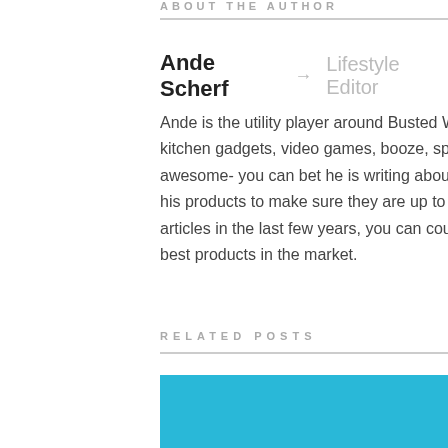ABOUT THE AUTHOR
Ande Scherf → Lifestyle Editor
Ande is the utility player around Busted Wallet. Whether it be speaker systems, kitchen gadgets, video games, booze, sports or if it has the potential to be awesome- you can bet he is writing about it. Ande enjoys taking a deep dive with his products to make sure they are up to snuff for our readers. With over 100 articles in the last few years, you can count on Ande to find you the newest and best products in the market.
RELATED POSTS
[Figure (other): Teal/blue colored card with score label 9.6 in white text at top right]